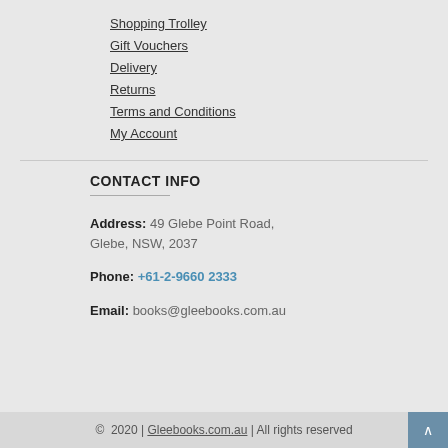Shopping Trolley
Gift Vouchers
Delivery
Returns
Terms and Conditions
My Account
CONTACT INFO
Address: 49 Glebe Point Road, Glebe, NSW, 2037
Phone: +61-2-9660 2333
Email: books@gleebooks.com.au
© 2020 | Gleebooks.com.au | All rights reserved